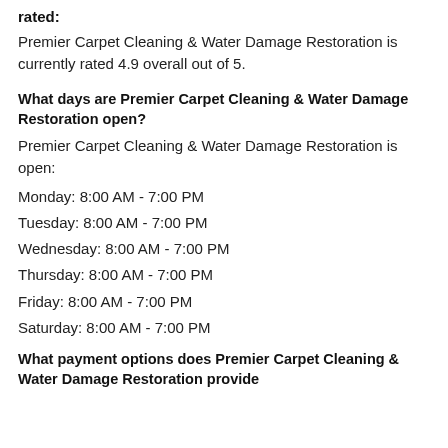rated:
Premier Carpet Cleaning & Water Damage Restoration is currently rated 4.9 overall out of 5.
What days are Premier Carpet Cleaning & Water Damage Restoration open?
Premier Carpet Cleaning & Water Damage Restoration is open:
Monday: 8:00 AM - 7:00 PM
Tuesday: 8:00 AM - 7:00 PM
Wednesday: 8:00 AM - 7:00 PM
Thursday: 8:00 AM - 7:00 PM
Friday: 8:00 AM - 7:00 PM
Saturday: 8:00 AM - 7:00 PM
What payment options does Premier Carpet Cleaning & Water Damage Restoration provide